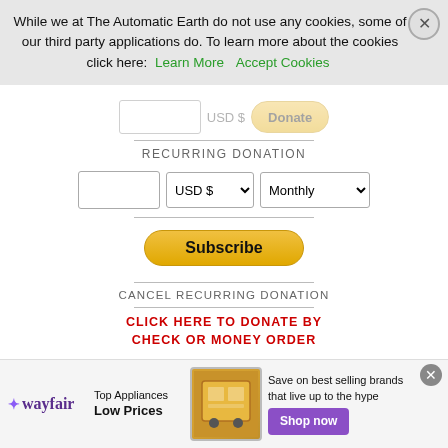While we at The Automatic Earth do not use any cookies, some of our third party applications do. To learn more about the cookies click here: Learn More  Accept Cookies
RECURRING DONATION
[Figure (screenshot): Recurring donation form with amount input, USD $ currency selector, Monthly frequency selector, and Subscribe button]
CANCEL RECURRING DONATION
CLICK HERE TO DONATE BY CHECK OR MONEY ORDER
[Figure (screenshot): Search bar with rounded rectangle input labeled 'Search' and a search icon magnifying glass]
[Figure (screenshot): Wayfair advertisement banner: Top Appliances Low Prices, Save on best selling brands that live up to the hype, Shop now button]